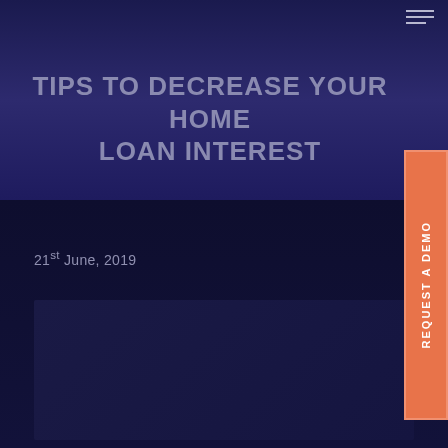TIPS TO DECREASE YOUR HOME LOAN INTEREST
21st June, 2019
[Figure (other): Dark placeholder content box area below the date]